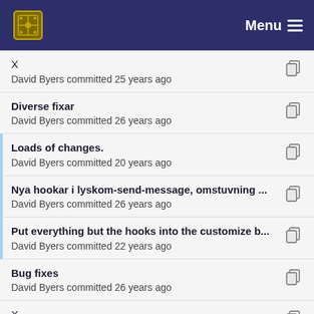Menu
X
David Byers committed 25 years ago
Diverse fixar
David Byers committed 26 years ago
Loads of changes.
David Byers committed 20 years ago
Nya hookar i lyskom-send-message, omstuvning ...
David Byers committed 26 years ago
Put everything but the hooks into the customize b...
David Byers committed 22 years ago
Bug fixes
David Byers committed 26 years ago
X
David Byers committed 25 years ago
Ti...